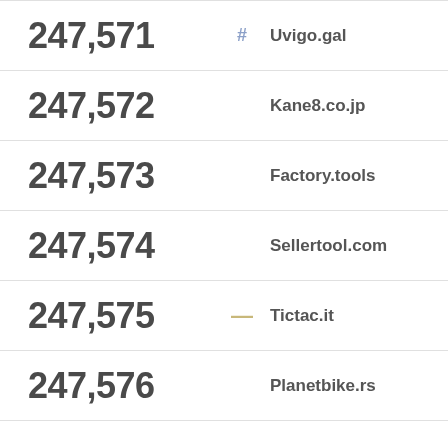| Rank | Change | Domain |
| --- | --- | --- |
| 247,571 | # | Uvigo.gal |
| 247,572 |  | Kane8.co.jp |
| 247,573 |  | Factory.tools |
| 247,574 |  | Sellertool.com |
| 247,575 | — | Tictac.it |
| 247,576 |  | Planetbike.rs |